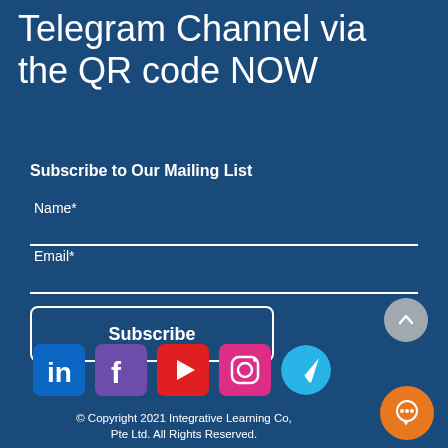Telegram Channel via the QR code NOW
Subscribe to Our Mailing List
Name*
Email*
Subscribe
[Figure (logo): Social media icons: LinkedIn, Facebook, YouTube, Instagram, Telegram, scroll-to-top button, and chat button]
© Copyright 2021 Integrative Learning Co, Pte Ltd. All Rights Reserved.